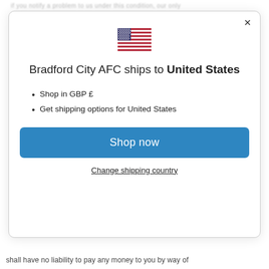if you notify a problem to us under this condition, our only
[Figure (illustration): US flag emoji/icon]
Bradford City AFC ships to United States
Shop in GBP £
Get shipping options for United States
Shop now
Change shipping country
shall have no liability to pay any money to you by way of